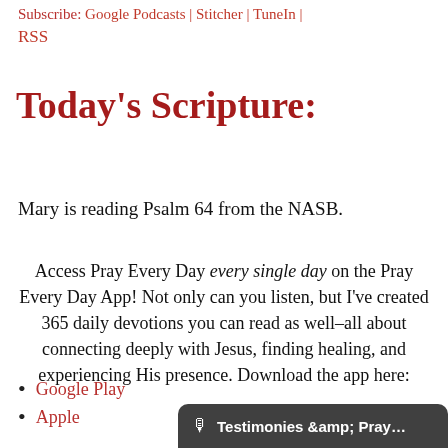Subscribe: Google Podcasts | Stitcher | TuneIn | RSS
Today's Scripture:
Mary is reading Psalm 64 from the NASB.
Access Pray Every Day every single day on the Pray Every Day App! Not only can you listen, but I've created 365 daily devotions you can read as well–all about connecting deeply with Jesus, finding healing, and experiencing His presence. Download the app here:
Google Play
Apple
🎙 Testimonies &amp; Pray…